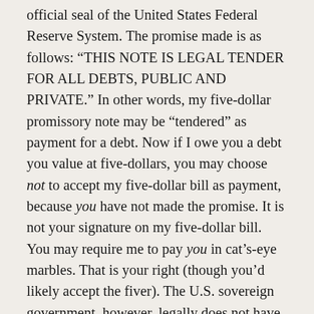official seal of the United States Federal Reserve System. The promise made is as follows: “THIS NOTE IS LEGAL TENDER FOR ALL DEBTS, PUBLIC AND PRIVATE.” In other words, my five-dollar promissory note may be “tendered” as payment for a debt. Now if I owe you a debt you value at five-dollars, you may choose not to accept my five-dollar bill as payment, because you have not made the promise. It is not your signature on my five-dollar bill. You may require me to pay you in cat’s-eye marbles. That is your right (though you’d likely accept the fiver). The U.S. sovereign government, however, legally does not have that option because it has signed the five-dollar promissory note. It has made the promise to accept the five-dollar bill as payment for a debt you owe to the U.S. government. (Unstated, but crucially implicit in the agreement, is the fact that the only thing the government will accept as payment is, in fact, the